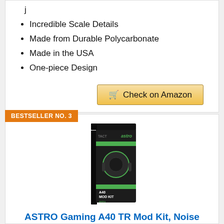j
Incredible Scale Details
Made from Durable Polycarbonate
Made in the USA
One-piece Design
Check on Amazon
BESTSELLER NO. 3
[Figure (photo): Product box for ASTRO Gaming A40 TR Mod Kit, black box with green accents]
ASTRO Gaming A40 TR Mod Kit, Noise